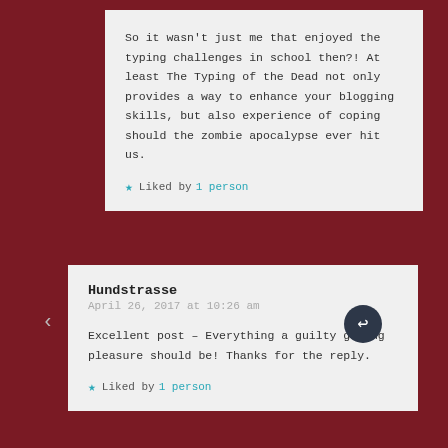So it wasn't just me that enjoyed the typing challenges in school then?! At least The Typing of the Dead not only provides a way to enhance your blogging skills, but also experience of coping should the zombie apocalypse ever hit us.
Liked by 1 person
Hundstrasse
April 26, 2017 at 10:26 am
Excellent post – Everything a guilty gaming pleasure should be! Thanks for the reply.
Liked by 1 person